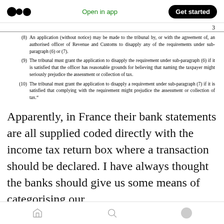Open in app | Get started
3
(8) An application (without notice) may be made to the tribunal by, or with the agreement of, an authorised officer of Revenue and Customs to disapply any of the requirements under sub-paragraph (6) or (7).
(9) The tribunal must grant the application to disapply the requirement under sub-paragraph (6) if it is satisfied that the officer has reasonable grounds for believing that naming the taxpayer might seriously prejudice the assessment or collection of tax.
(10) The tribunal must grant the application to disapply a requirement under sub-paragraph (7) if it is satisfied that complying with the requirement might prejudice the assessment or collection of tax."
Apparently, in France their bank statements are all supplied coded directly with the income tax return box where a transaction should be declared. I have always thought the banks should give us some means of categorising our
Home | Search | Profile